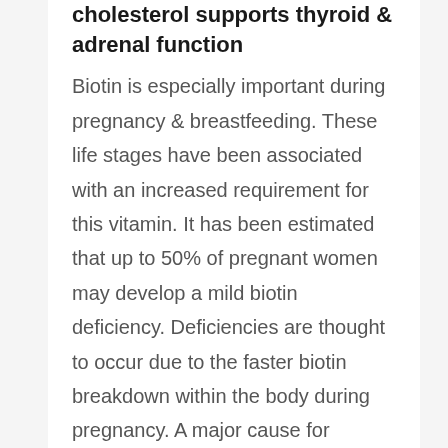cholesterol supports thyroid & adrenal function
Biotin is especially important during pregnancy & breastfeeding. These life stages have been associated with an increased requirement for this vitamin. It has been estimated that up to 50% of pregnant women may develop a mild biotin deficiency. Deficiencies are thought to occur due to the faster biotin breakdown within the body during pregnancy. A major cause for concern is that animal studies have found that a